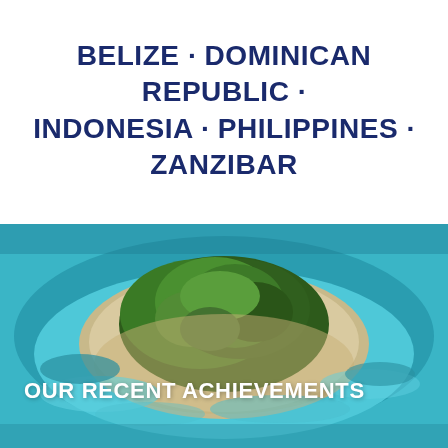BELIZE · DOMINICAN REPUBLIC · INDONESIA · PHILIPPINES · ZANZIBAR
[Figure (photo): Aerial photograph of a small tropical island with lush green vegetation surrounded by turquoise ocean water and a sandy shoreline]
OUR RECENT ACHIEVEMENTS